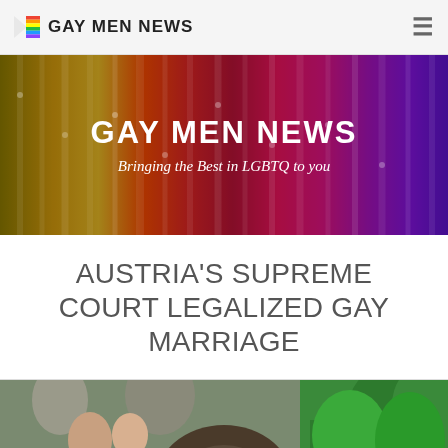Gay Men News
[Figure (photo): Colorful rainbow pencils/crayons banner with text 'Gay Men News' and subtitle 'Bringing the Best in LGBTQ to you']
Austria's Supreme Court Legalized Gay Marriage
[Figure (photo): People outdoors, some wearing green shirts, appearing to be at a celebration or event]